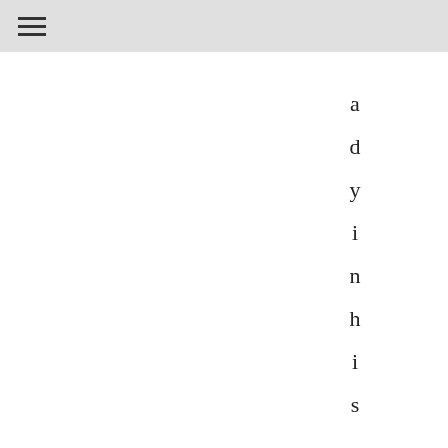a d y i n h i s 4 0 s ) , b u t h i